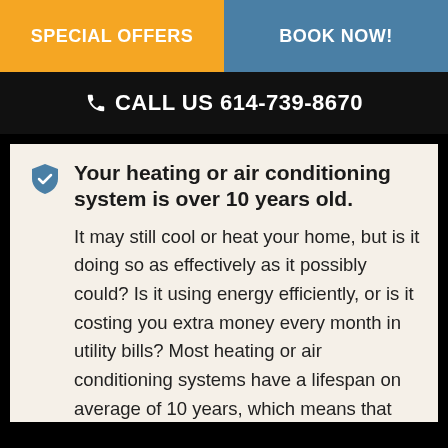SPECIAL OFFERS | BOOK NOW!
CALL US 614-739-8670
Your heating or air conditioning system is over 10 years old. It may still cool or heat your home, but is it doing so as effectively as it possibly could? Is it using energy efficiently, or is it costing you extra money every month in utility bills? Most heating or air conditioning systems have a lifespan on average of 10 years, which means that